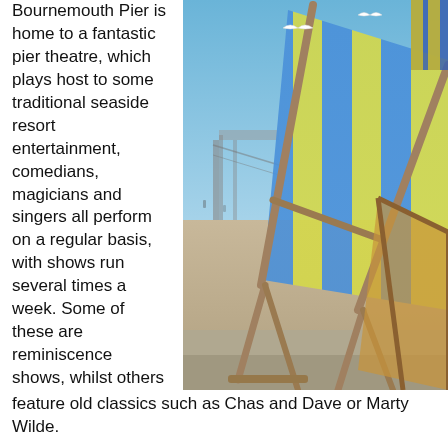Bournemouth Pier is home to a fantastic pier theatre, which plays host to some traditional seaside resort entertainment, comedians, magicians and singers all perform on a regular basis, with shows run several times a week. Some of these are reminiscence shows, whilst others feature old classics such as Chas and Dave or Marty Wilde.
[Figure (photo): Photo of striped blue and yellow deckchairs on a sandy beach with Bournemouth Pier visible in the background, seagulls flying in a clear blue sky.]
The pier itself has a restaurant and a great bar. It's